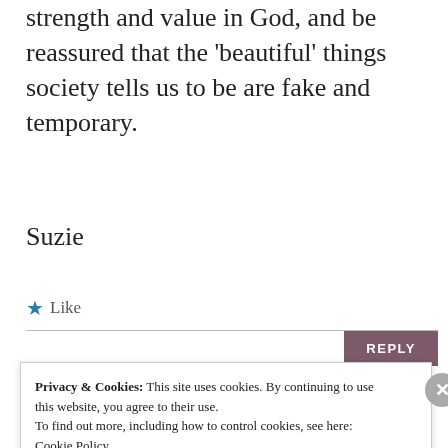strength and value in God, and be reassured that the 'beautiful' things society tells us to be are fake and temporary.
Suzie
★ Like
REPLY
Privacy & Cookies: This site uses cookies. By continuing to use this website, you agree to their use.
To find out more, including how to control cookies, see here:
Cookie Policy
Close and accept